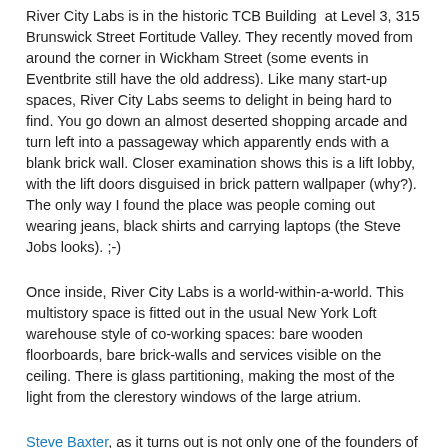River City Labs is in the historic TCB Building at Level 3, 315 Brunswick Street Fortitude Valley. They recently moved from around the corner in Wickham Street (some events in Eventbrite still have the old address). Like many start-up spaces, River City Labs seems to delight in being hard to find. You go down an almost deserted shopping arcade and turn left into a passageway which apparently ends with a blank brick wall. Closer examination shows this is a lift lobby, with the lift doors disguised in brick pattern wallpaper (why?). The only way I found the place was people coming out wearing jeans, black shirts and carrying laptops (the Steve Jobs looks). ;-)
Once inside, River City Labs is a world-within-a-world. This multistory space is fitted out in the usual New York Loft warehouse style of co-working spaces: bare wooden floorboards, bare brick-walls and services visible on the ceiling. There is glass partitioning, making the most of the light from the clerestory windows of the large atrium.
Steve Baxter, as it turns out is not only one of the founders of River City Labs but also appears on the Australian TV series